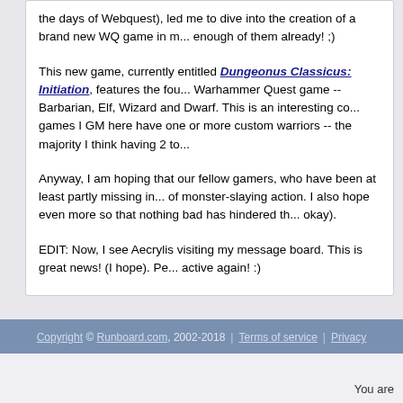the days of Webquest), led me to dive into the creation of a brand new WQ game in m... enough of them already! ;)
This new game, currently entitled Dungeonus Classicus: Initiation, features the fou... Warhammer Quest game -- Barbarian, Elf, Wizard and Dwarf. This is an interesting co... games I GM here have one or more custom warriors -- the majority I think having 2 to...
Anyway, I am hoping that our fellow gamers, who have been at least partly missing in... of monster-slaying action. I also hope even more so that nothing bad has hindered th... okay).
EDIT: Now, I see Aecrylis visiting my message board. This is great news! (I hope). Pe... active again! :)
Copyright © Runboard.com, 2002-2018 | Terms of service | Privacy
You are